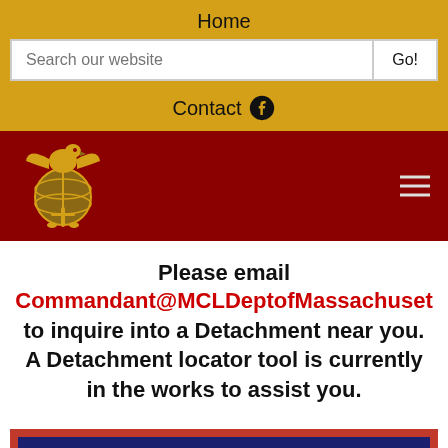Home
Search our website
Contact
[Figure (logo): Marine Corps League Eagle Globe and Anchor emblem on dark red background]
Please email Commandant@MCLDeptofMassachuset to inquire into a Detachment near you. A Detachment locator tool is currently in the works to assist you.
Upcoming Detachment Events